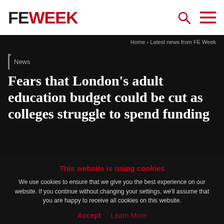FE WEEK
Home › Latest news from FE Week
News
Fears that London's adult education budget could be cut as colleges struggle to spend funding
This website is using cookies
We use cookies to ensure that we give you the best experience on our website. If you continue without changing your settings, we'll assume that you are happy to receive all cookies on this website.
Accept  Learn More